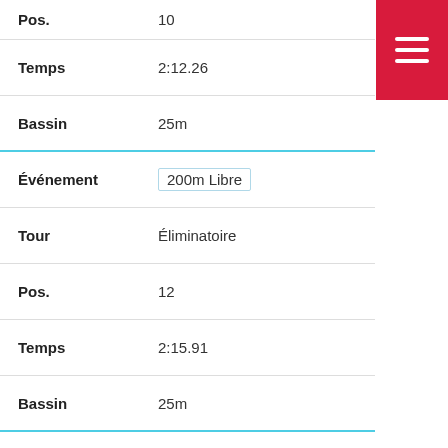Pos.  10
Temps  2:12.26
Bassin  25m
Événement  200m Libre
Tour  Éliminatoire
Pos.  12
Temps  2:15.91
Bassin  25m
Événement  50m Dos